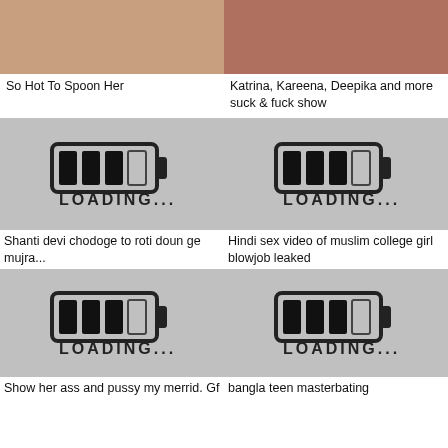[Figure (photo): Top left thumbnail - skin tone image]
[Figure (photo): Top right thumbnail - person in red]
So Hot To Spoon Her
Katrina, Kareena, Deepika and more suck & fuck show
[Figure (illustration): Loading screen placeholder with battery/loading icon]
[Figure (illustration): Loading screen placeholder with battery/loading icon]
Shanti devi chodoge to roti doun ge mujra...
Hindi sex video of muslim college girl blowjob leaked
[Figure (illustration): Loading screen placeholder with battery/loading icon]
[Figure (illustration): Loading screen placeholder with battery/loading icon]
Show her ass and pussy my merrid. Gf
bangla teen masterbating